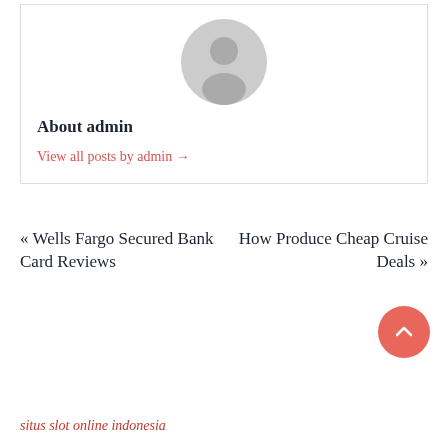[Figure (illustration): Gray circular avatar/user placeholder icon with silhouette of a person]
About admin
View all posts by admin →
« Wells Fargo Secured Bank Card Reviews
How Produce Cheap Cruise Deals »
[Figure (other): Salmon/coral colored circular scroll-to-top button with upward chevron arrow]
situs slot online indonesia